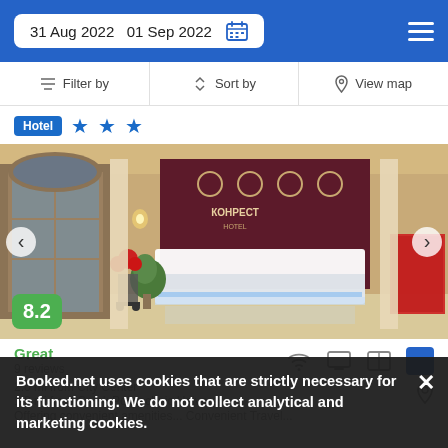31 Aug 2022   01 Sep 2022
Filter by   Sort by   View map
Hotel ★★★
[Figure (photo): Hotel lobby interior with front desk, illuminated counter, plants and decorative elements]
8.2
Great
9 reviews
2.0 mi from City Center
1.8 mi from Omsk Polytechnic University
Offering convenient amenities... Travel...
Booked.net uses cookies that are strictly necessary for its functioning. We do not collect analytical and marketing cookies.